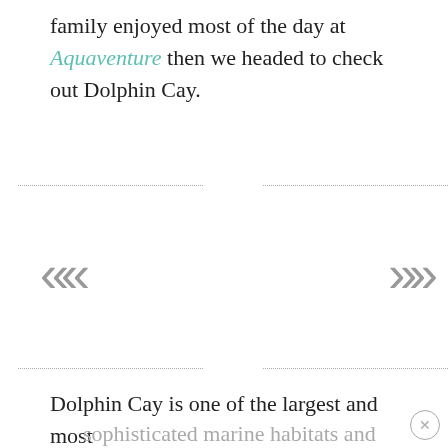family enjoyed most of the day at Aquaventure then we headed to check out Dolphin Cay.
[Figure (other): Image slideshow navigation area with left (<<) and right (>>) chevron arrows and dotted border lines top and bottom on left and right sides, with a blank/white center image area]
Dolphin Cay is one of the largest and most sophisticated marine habitats and animal rescue-